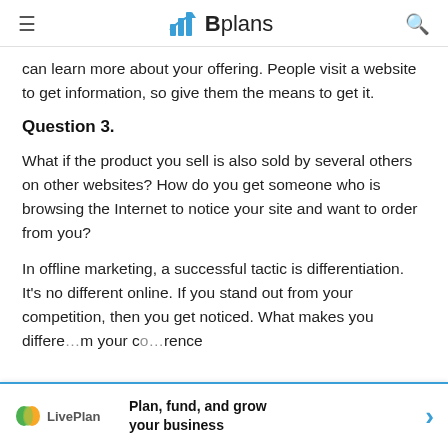≡   Bplans   🔍
can learn more about your offering. People visit a website to get information, so give them the means to get it.
Question 3.
What if the product you sell is also sold by several others on other websites? How do you get someone who is browsing the Internet to notice your site and want to order from you?
In offline marketing, a successful tactic is differentiation. It's no different online. If you stand out from your competition, then you get noticed. What makes you different from your competitors? It's the difference your co[mpetitors]…rence
[Figure (other): LivePlan advertisement banner: Plan, fund, and grow your business with arrow]